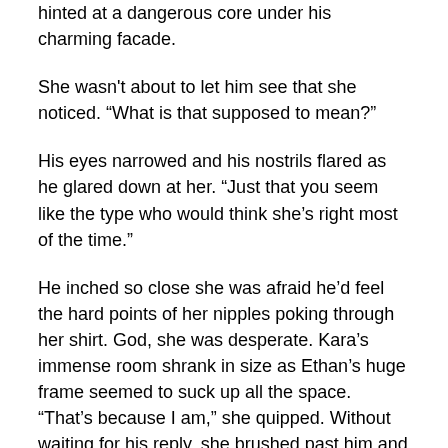hinted at a dangerous core under his charming facade.
She wasn't about to let him see that she noticed. “What is that supposed to mean?”
His eyes narrowed and his nostrils flared as he glared down at her. “Just that you seem like the type who would think she’s right most of the time.”
He inched so close she was afraid he’d feel the hard points of her nipples poking through her shirt. God, she was desperate. Kara’s immense room shrank in size as Ethan’s huge frame seemed to suck up all the space. “That’s because I am,” she quipped. Without waiting for his reply, she brushed past him and headed back to the kitchen, sure that she heard Ethan chuckling. She could hear Jerry